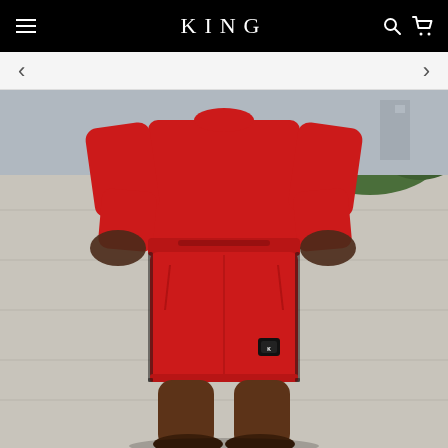KING
[Figure (photo): A man wearing a red sweatshirt and red athletic shorts with a small black brand label, hands in pockets, standing outdoors in front of a concrete wall with greenery in the background. The KING brand logo/label is visible on the shorts.]